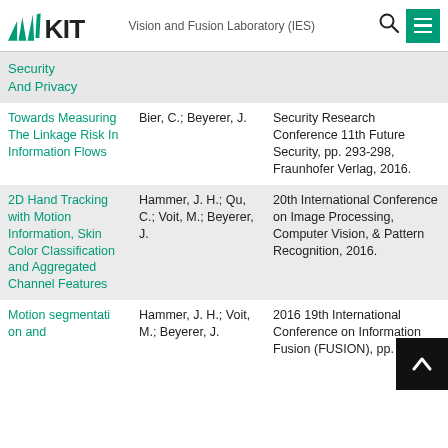KIT — Vision and Fusion Laboratory (IES)
Security And Privacy
Towards Measuring The Linkage Risk In Information Flows | Bier, C.; Beyerer, J. | Security Research Conference 11th Future Security, pp. 293-298, Fraunhofer Verlag, 2016.
2D Hand Tracking with Motion Information, Skin Color Classification and Aggregated Channel Features | Hammer, J. H.; Qu, C.; Voit, M.; Beyerer, J. | 20th International Conference on Image Processing, Computer Vision, & Pattern Recognition, 2016.
Motion segmentation and | Hammer, J. H.; Voit, M.; Beyerer, J. | 2016 19th International Conference on Information Fusion (FUSION), pp. 1743-